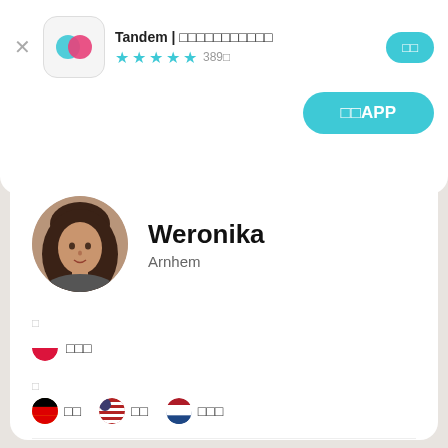Tandem | □□□□□□□□□□□
★★★★☆ 389□
□□
□□APP
Weronika
Arnhem
□
🇵🇱 □□□
□
🇩🇪 □□  🇺🇸 □□  🇳🇱 □□□
□□□□□□□□